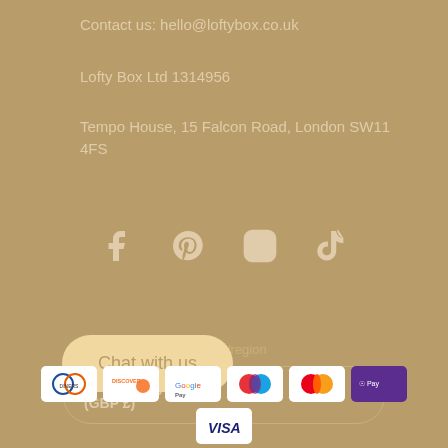Contact us: hello@loftybox.co.uk
Lofty Box Ltd 1314956
Tempo House, 15 Falcon Road, London SW11 4FS
[Figure (other): Social media icons: Facebook, Pinterest, Instagram, TikTok]
Country/region
United Kingdom (GBP £)
Chat with us
[Figure (other): Payment method icons: Diners Club, Discover, Google Pay, Maestro, Mastercard, Apple Pay, Visa]